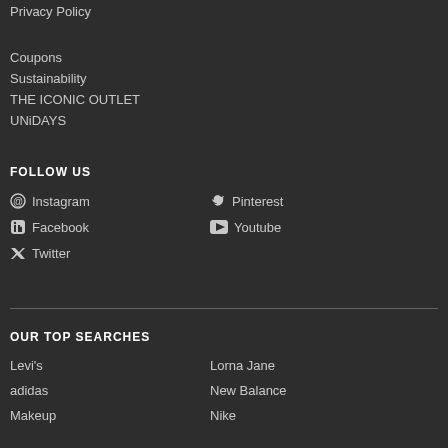Privacy Policy
Coupons
Sustainability
THE ICONIC OUTLET
UNiDAYS
FOLLOW US
Instagram
Pinterest
Facebook
Youtube
Twitter
OUR TOP SEARCHES
Levi's
Lorna Jane
adidas
New Balance
Makeup
Nike